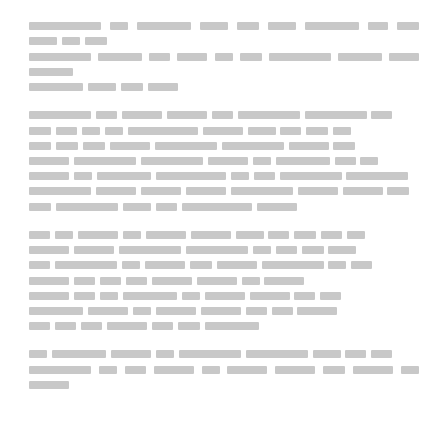[Redacted paragraph 1 - 3 lines of obscured text]
[Redacted paragraph 2 - 7 lines of obscured text]
[Redacted paragraph 3 - 7 lines of obscured text]
[Redacted paragraph 4 - 2 lines of obscured text]